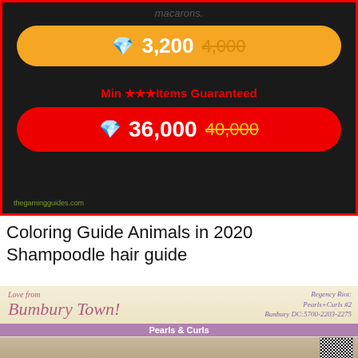[Figure (screenshot): Mobile game screenshot showing gem purchase options. An orange button shows '3,200' with strikethrough '4,000'. Text reads '10x worth at once!' and 'Min ★★★Items Guaranteed'. A red button shows '36,000' with strikethrough '40,000'. Watermark at bottom left.]
Coloring Guide Animals in 2020 Shampoodle hair guide
[Figure (screenshot): Animal Crossing town guide image. Header reads 'Love from Bumbury Town!' with decorative script. Right side shows 'Regency Riot: Pearls+Curls #2 Bunbury DC:5700-2203-2275'. A purple banner reads 'Pearls & Curls'. Below is a room interior scene, a lion character, and a QR code.]